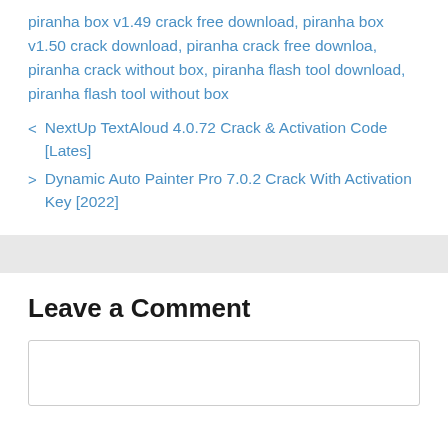piranha box v1.49 crack free download, piranha box v1.50 crack download, piranha crack free downloa, piranha crack without box, piranha flash tool download, piranha flash tool without box
< NextUp TextAloud 4.0.72 Crack & Activation Code [Lates]
> Dynamic Auto Painter Pro 7.0.2 Crack With Activation Key [2022]
Leave a Comment